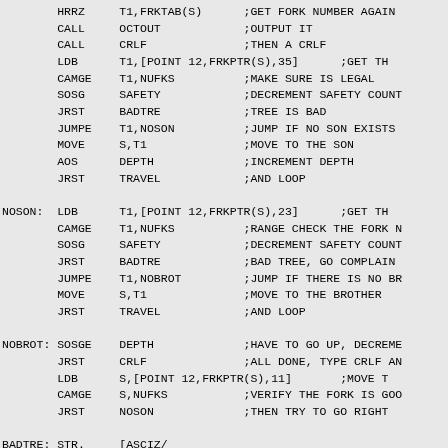HRRZ     T1,FRKTAB(S)      ;GET FORK NUMBER AGAIN
        CALL     OCTOUT            ;OUTPUT IT
        CALL     CRLF              ;THEN A CRLF
        LDB      T1,[POINT 12,FRKPTR(S),35]      ;GET TH
        CAMGE    T1,NUFKS          ;MAKE SURE IS LEGAL
        SOSG     SAFETY            ;DECREMENT SAFETY COUNT
        JRST     BADTRE            ;TREE IS BAD
        JUMPE    T1,NOSON          ;JUMP IF NO SON EXISTS
        MOVE     S,T1              ;MOVE TO THE SON
        AOS      DEPTH             ;INCREMENT DEPTH
        JRST     TRAVEL            ;AND LOOP

NOSON:  LDB      T1,[POINT 12,FRKPTR(S),23]      ;GET TH
        CAMGE    T1,NUFKS          ;RANGE CHECK THE FORK N
        SOSG     SAFETY            ;DECREMENT SAFETY COUNT
        JRST     BADTRE            ;BAD TREE, GO COMPLAIN
        JUMPE    T1,NOBROT         ;JUMP IF THERE IS NO BR
        MOVE     S,T1              ;MOVE TO THE BROTHER
        JRST     TRAVEL            ;AND LOOP

NOBROT: SOSGE    DEPTH             ;HAVE TO GO UP, DECREME
        JRST     CRLF              ;ALL DONE, TYPE CRLF AN
        LDB      S,[POINT 12,FRKPTR(S),11]       ;MOVE T
        CAMGE    S,NUFKS           ;VERIFY THE FORK IS GOO
        JRST     NOSON             ;THEN TRY TO GO RIGHT

BADTRE: STR.     [ASCIZ/
% Structure of tree is bad, try command again

/]                                ;TYPE MESSAGE